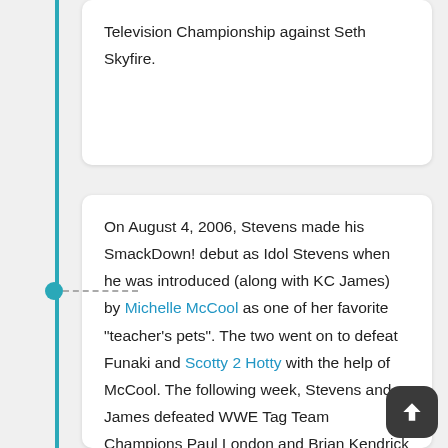Television Championship against Seth Skyfire.
On August 4, 2006, Stevens made his SmackDown! debut as Idol Stevens when he was introduced (along with KC James) by Michelle McCool as one of her favorite "teacher's pets". The two went on to defeat Funaki and Scotty 2 Hotty with the help of McCool. The following week, Stevens and James defeated WWE Tag Team Champions Paul London and Brian Kendrick in a non-title match. On the August 18 show, Stevens and James